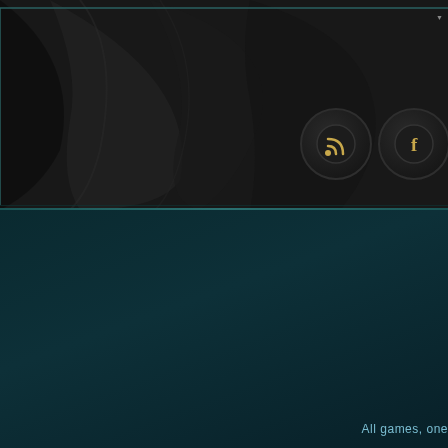[Figure (screenshot): Website screenshot showing dark header with fabric/cloth texture background, social media icons (RSS and Facebook) in circular dark buttons, a teal/dark blue lower section with blue vertical accent bars, navigation links CAREERS | ABOUT | SU... and footer text 'All games, one...']
CAREERS | ABOUT | SU
All games, one